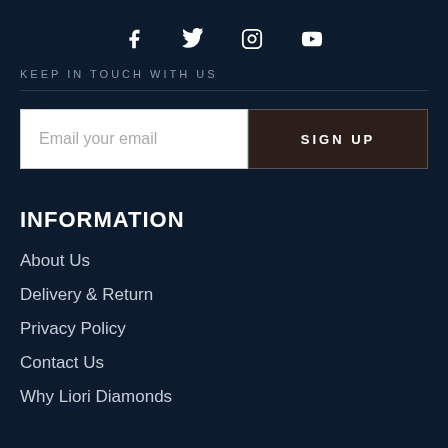[Figure (illustration): Social media icons: Facebook, Twitter, Instagram, YouTube]
KEEP IN TOUCH WITH US
Email your email | SIGN UP
INFORMATION
About Us
Delivery & Return
Privacy Policy
Contact Us
Why Liori Diamonds